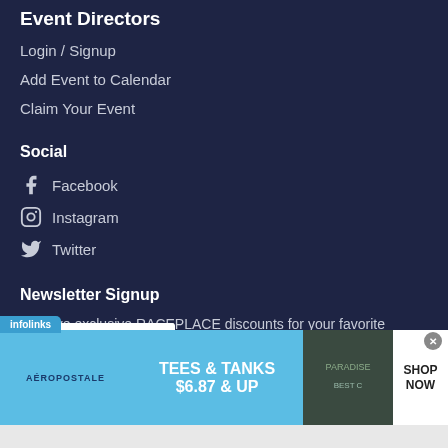Event Directors
Login / Signup
Add Event to Calendar
Claim Your Event
Social
Facebook
Instagram
Twitter
Newsletter Signup
Receive exclusive RACEPLACE discounts for your favorite events.
[Figure (screenshot): Aeropostale advertisement banner: TEES & TANKS $6.87 & UP with SHOP NOW button]